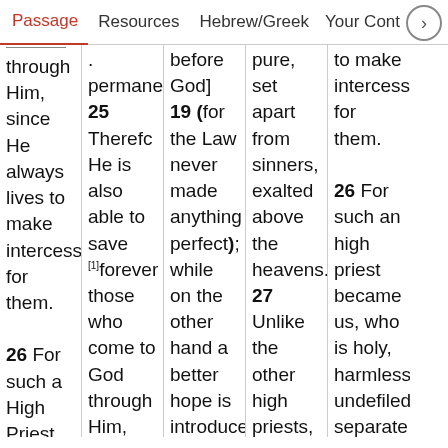Passage | Resources | Hebrew/Greek | Your Conte
through Him, since He always lives to make intercession for them.
26 For such a High Priest was
permanent 25 Therefore He is also able to save [1]forever those who come to God through Him, since He always
before God] 19 (for the Law never made anything perfect); while on the other hand a better hope is introduced through
pure, set apart from sinners, exalted above the heavens. 27 Unlike the other high priests, he does
to make intercession for them.
26 For such an high priest became us, who is holy, harmless undefiled separate